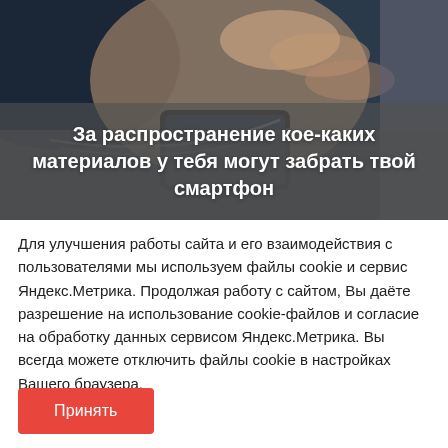[Figure (photo): Close-up photo of a hand holding a smartphone, with a semi-transparent gray overlay containing bold white text]
За распространение кое-каких материалов у тебя могут забрать твой смартфон
Для улучшения работы сайта и его взаимодействия с пользователями мы используем файлы cookie и сервис Яндекс.Метрика. Продолжая работу с сайтом, Вы даёте разрешение на использование cookie-файлов и согласие на обработку данных сервисом Яндекс.Метрика. Вы всегда можете отключить файлы cookie в настройках Вашего браузера.
Принять